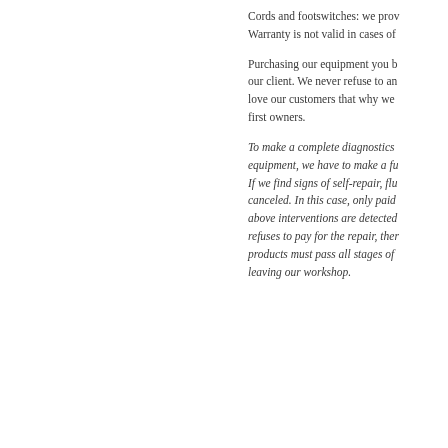Cords and footswitches: we prov Warranty is not valid in cases of
Purchasing our equipment you b our client. We never refuse to an love our customers that why we first owners.
To make a complete diagnostics equipment, we have to make a fu If we find signs of self-repair, flu canceled. In this case, only paid above interventions are detected refuses to pay for the repair, ther products must pass all stages of leaving our workshop.